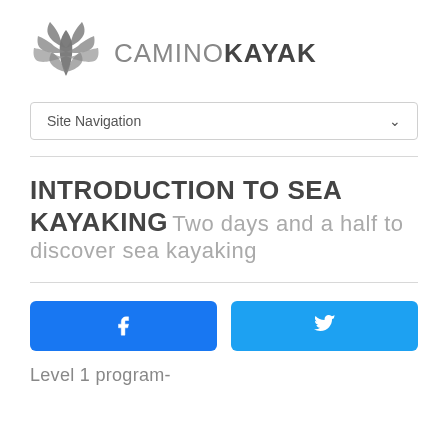[Figure (logo): CaminoKayak logo with stylized leaf/kayak paddle graphic and text CAMINOKAYAK]
Site Navigation
INTRODUCTION TO SEA KAYAKING Two days and a half to discover sea kayaking
[Figure (other): Facebook share button (blue) and Twitter share button (light blue) with social media icons]
Level 1 program-